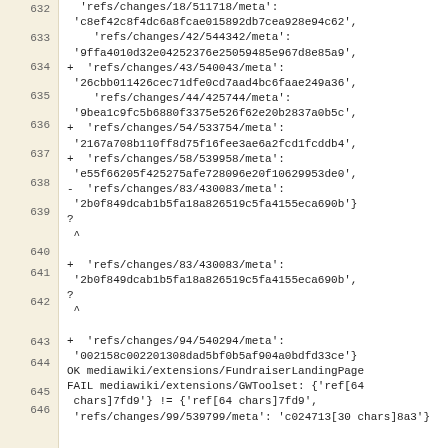632: 'refs/changes/18/511718/meta': 'c8ef42c8f4dc6a8fcae015892db7cea928e94c62',
633:     'refs/changes/42/544342/meta': '9ffa4010d32e04252376e25059485e967d8e85a9',
634: +  'refs/changes/43/540043/meta': '26cbb011426cec71dfe0cd7aad4bc6faae249a36',
635:     'refs/changes/44/425744/meta': '9bea1c9fc5b6880f3375e526f62e20b2837a0b5c',
636: +  'refs/changes/54/533754/meta': '2167a708b110ff8d75f16fee3ae6a2fcd1fcddb4',
637: +  'refs/changes/58/539958/meta': 'e55f66205f425275afe728096e20f10629953de0',
638: -  'refs/changes/83/430083/meta': '2b0f849dcab1b5fa18a826519c5fa4155eca690b'}
639: ?
    ^
640:
641: +  'refs/changes/83/430083/meta': '2b0f849dcab1b5fa18a826519c5fa4155eca690b',
642: ?
    ^
643:
644: +  'refs/changes/94/540294/meta': '002158c002201308dad5bf0b5af904a0bdfd33ce'}
645: OK mediawiki/extensions/FundraiserLandingPage
646: FAIL mediawiki/extensions/GWToolset: {'ref[64 chars]7fd9'} != {'ref[64 chars]7fd9', 'refs/changes/99/539799/meta': 'c024713[30 chars]8a3'}